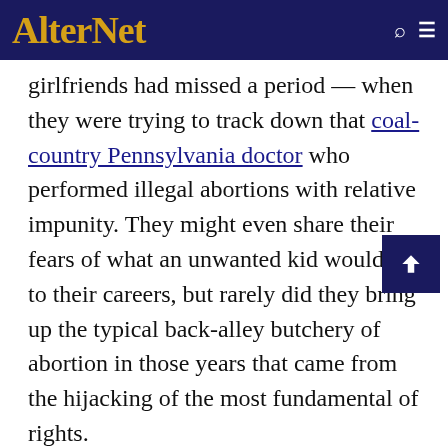AlterNet
girlfriends had missed a period — when they were trying to track down that coal-country Pennsylvania doctor who performed illegal abortions with relative impunity. They might even share their fears of what an unwanted kid would do to their careers, but rarely did they bring up the typical back-alley butchery of abortion in those years that came from the hijacking of the most fundamental of rights.